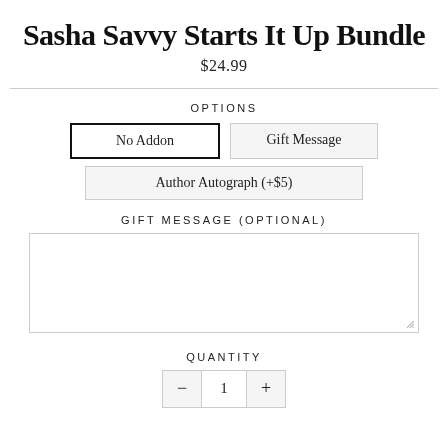Sasha Savvy Starts It Up Bundle
$24.99
OPTIONS
No Addon
Gift Message
Author Autograph (+$5)
GIFT MESSAGE (OPTIONAL)
QUANTITY
- 1 +